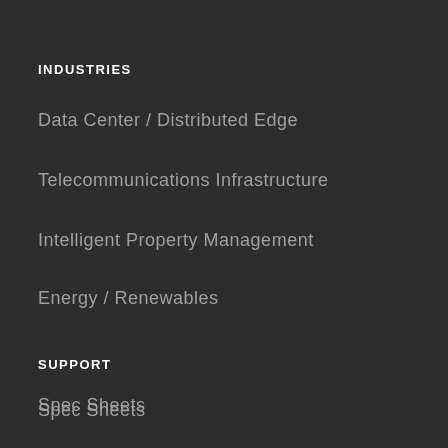INDUSTRIES
Data Center / Distributed Edge
Telecommunications Infrastructure
Intelligent Property Management
Energy / Renewables
SUPPORT
Spec Sheets
White Papers
Technical Support